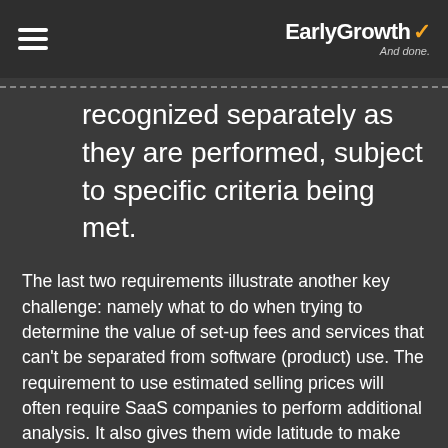EarlyGrowth ✓ And done.
recognized separately as they are performed, subject to specific criteria being met.
The last two requirements illustrate another key challenge: namely what to do when trying to determine the value of set-up fees and services that can't be separated from software (product) use. The requirement to use estimated selling prices will often require SaaS companies to perform additional analysis. It also gives them wide latitude to make judgment calls as to the standalone value of the other services they provide and assumptions as to the average life of their customers.